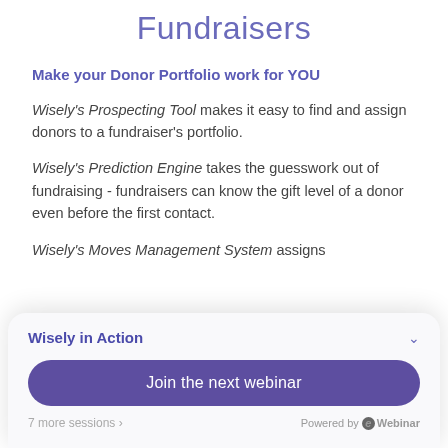Fundraisers
Make your Donor Portfolio work for YOU
Wisely's Prospecting Tool makes it easy to find and assign donors to a fundraiser's portfolio.
Wisely's Prediction Engine takes the guesswork out of fundraising - fundraisers can know the gift level of a donor even before the first contact.
Wisely's Moves Management System assigns
[Figure (screenshot): Popup card overlay with title 'Wisely in Action', a 'Join the next webinar' button, '7 more sessions ›' link, and 'Powered by eWebinar' branding]